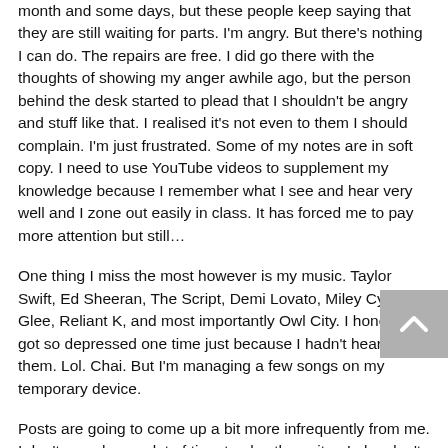month and some days, but these people keep saying that they are still waiting for parts. I'm angry. But there's nothing I can do. The repairs are free. I did go there with the thoughts of showing my anger awhile ago, but the person behind the desk started to plead that I shouldn't be angry and stuff like that. I realised it's not even to them I should complain. I'm just frustrated. Some of my notes are in soft copy. I need to use YouTube videos to supplement my knowledge because I remember what I see and hear very well and I zone out easily in class. It has forced me to pay more attention but still...
One thing I miss the most however is my music. Taylor Swift, Ed Sheeran, The Script, Demi Lovato, Miley Cyrus, Glee, Reliant K, and most importantly Owl City. I honestly got so depressed one time just because I hadn't heard them. Lol. Chai. But I'm managing a few songs on my temporary device.
Posts are going to come up a bit more infrequently from me. I don't even have a lot of time to play the guitar. I also don't want to post unless I have something tangible to say... Or I need to reduce some of the load in my head.